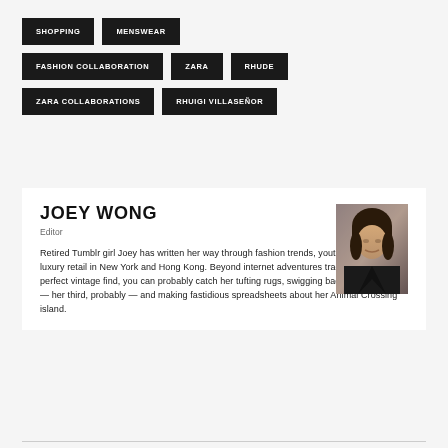SHOPPING
MENSWEAR
FASHION COLLABORATION
ZARA
RHUDE
ZARA COLLABORATIONS
RHUIGI VILLASEÑOR
JOEY WONG
Editor
[Figure (photo): Headshot photo of Joey Wong, a young woman with medium-length hair wearing a dark jacket against a patterned background]
Retired Tumblr girl Joey has written her way through fashion trends, youth culture and luxury retail in New York and Hong Kong. Beyond internet adventures tracking down the perfect vintage find, you can probably catch her tufting rugs, swigging back Bloody Marys — her third, probably — and making fastidious spreadsheets about her Animal Crossing island.